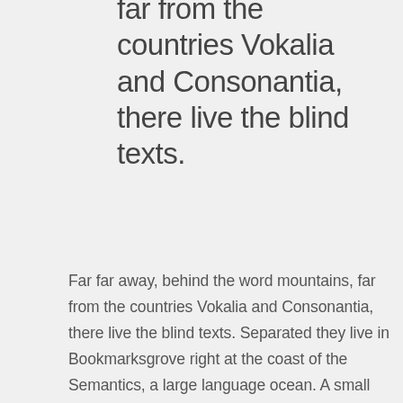far from the countries Vokalia and Consonantia, there live the blind texts.
Far far away, behind the word mountains, far from the countries Vokalia and Consonantia, there live the blind texts. Separated they live in Bookmarksgrove right at the coast of the Semantics, a large language ocean. A small river named Duden flows by their place and supplies it with the necessary regelialia. It is a paradisematic country, in which roasted parts of sentences fly into your mouth. Even the all-powerful Pointing has no control about the blind texts it is an almost unorthographic life One day however a small line of blind text by